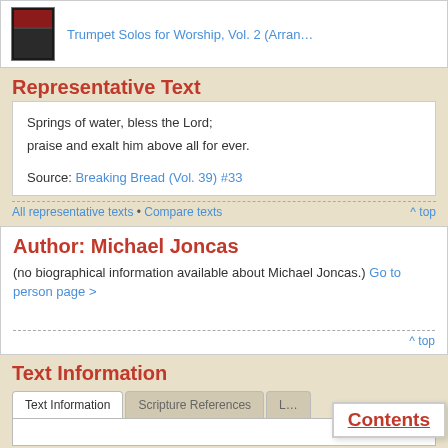[Figure (other): Album thumbnail for Trumpet Solos for Worship Vol. 2]
Trumpet Solos for Worship, Vol. 2 (Arran…
Representative Text
Springs of water, bless the Lord;
praise and exalt him above all for ever.
Source: Breaking Bread (Vol. 39) #33
All representative texts • Compare texts
^ top
Author: Michael Joncas
(no biographical information available about Michael Joncas.) Go to person page >
^ top
Text Information
Text Information | Scripture References | L…
Contents